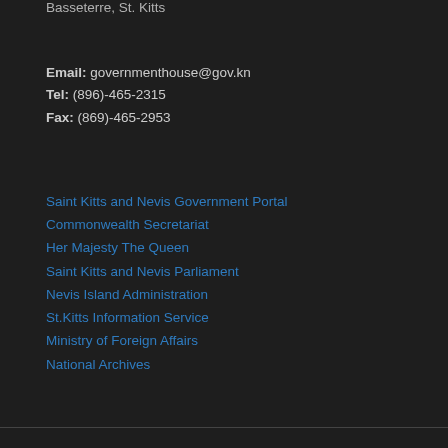Basseterre, St. Kitts
Email: governmenthouse@gov.kn
Tel: (896)-465-2315
Fax: (869)-465-2953
Saint Kitts and Nevis Government Portal
Commonwealth Secretariat
Her Majesty The Queen
Saint Kitts and Nevis Parliament
Nevis Island Administration
St.Kitts Information Service
Ministry of Foreign Affairs
National Archives